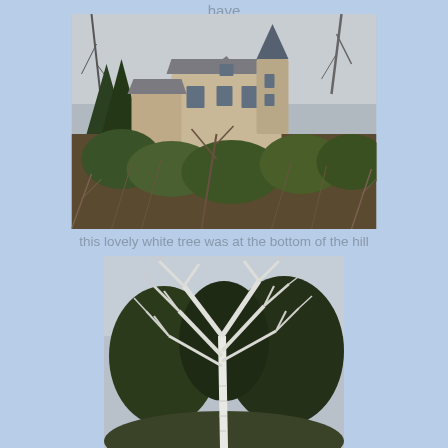have
[Figure (photo): A stone castle or manor house with a conical turret tower, surrounded by bare trees and overgrown shrubs on a hillside, photographed on an overcast day.]
this lovely white tree was at the bottom of the hill
[Figure (photo): A white-barked tree with bare branches spreading widely, photographed from below against an overcast sky with darker trees in the background.]